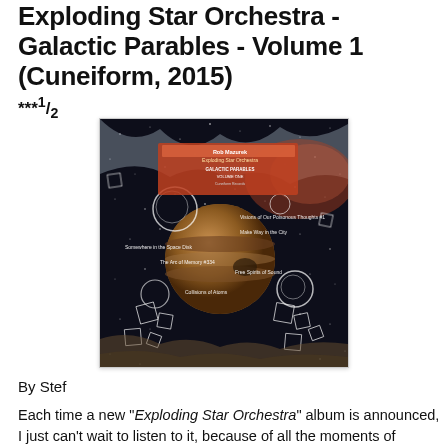Exploding Star Orchestra - Galactic Parables - Volume 1 (Cuneiform, 2015)
***½
[Figure (photo): Album cover art for Exploding Star Orchestra - Galactic Parables Volume 1. Dark space/cosmic imagery with planets, circles, and track listings overlaid on a star field background.]
By Stef
Each time a new "Exploding Star Orchestra" album is announced, I just can't wait to listen to it, because of all the moments of musical joy the previous albums offered me, and expectations run high. Their first album "We Are All From Somewhere Else" I called 'a masterpiece', which I have not often done, and some of the other albums also received 5-